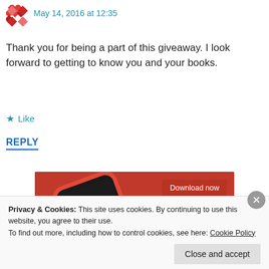May 14, 2016 at 12:35
Thank you for being a part of this giveaway. I look forward to getting to know you and your books.
Like
REPLY
[Figure (screenshot): A smartphone with a red case displayed on a red background, showing an audio app (Audible-style) with playback controls. A 'Download now' button is shown in the top right of the image.]
Privacy & Cookies: This site uses cookies. By continuing to use this website, you agree to their use.
To find out more, including how to control cookies, see here: Cookie Policy
Close and accept